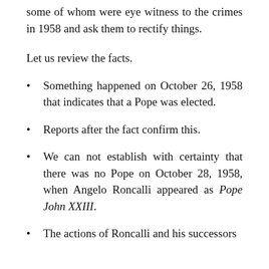some of whom were eye witness to the crimes in 1958 and ask them to rectify things.
Let us review the facts.
Something happened on October 26, 1958 that indicates that a Pope was elected.
Reports after the fact confirm this.
We can not establish with certainty that there was no Pope on October 28, 1958, when Angelo Roncalli appeared as Pope John XXIII.
The actions of Roncalli and his successors